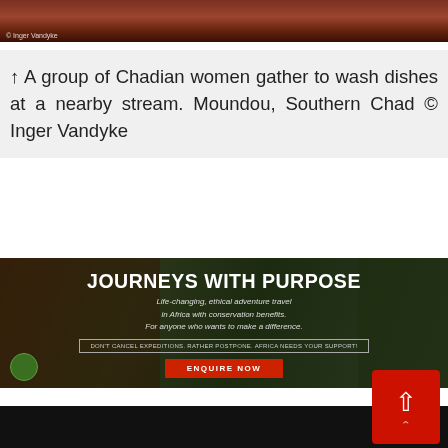[Figure (photo): Top strip photo of Chadian women near a stream, reddish-brown tones with photo credit '© Inger Vandyke']
↑ A group of Chadian women gather to wash dishes at a nearby stream. Moundou, Southern Chad © Inger Vandyke
[Figure (infographic): Advertisement banner for 'Journeys With Purpose' — life-changing ethical adventure travel in Africa with conservation benefits. Includes notice 'DON'T CANCEL EXPEDITIONS. RATHER POSTPONE. AFRICA NEEDS YOUR SUPPORT!' and 'ENQUIRE NOW' button.]